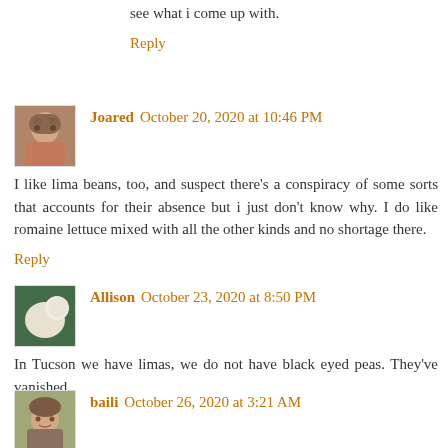see what i come up with.
Reply
Joared  October 20, 2020 at 10:46 PM
I like lima beans, too, and suspect there's a conspiracy of some sorts that accounts for their absence but i just don't know why. I do like romaine lettuce mixed with all the other kinds and no shortage there.
Reply
Allison  October 23, 2020 at 8:50 PM
In Tucson we have limas, we do not have black eyed peas. They've vanished.
Reply
baili  October 26, 2020 at 3:21 AM
haha